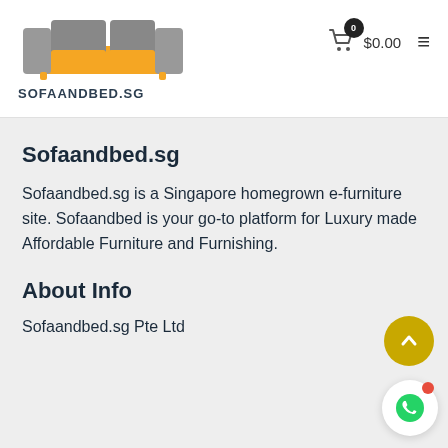[Figure (logo): Sofaandbed.sg logo — orange and grey sofa illustration with text SOFAANDBED.SG below]
0  $0.00  ≡
Sofaandbed.sg
Sofaandbed.sg is a Singapore homegrown e-furniture site. Sofaandbed is your go-to platform for Luxury made Affordable Furniture and Furnishing.
About Info
Sofaandbed.sg Pte Ltd